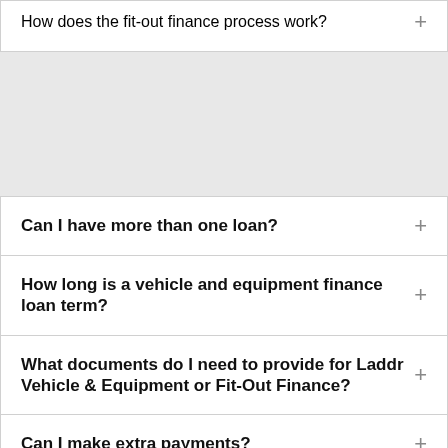How does the fit-out finance process work?
Can I have more than one loan?
How long is a vehicle and equipment finance loan term?
What documents do I need to provide for Laddr Vehicle & Equipment or Fit-Out Finance?
Can I make extra payments?